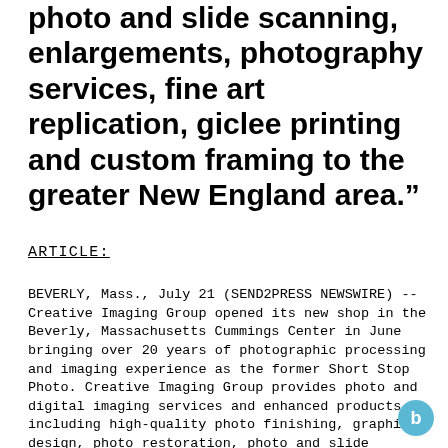photo and slide scanning, enlargements, photography services, fine art replication, giclee printing and custom framing to the greater New England area.”
ARTICLE:
BEVERLY, Mass., July 21 (SEND2PRESS NEWSWIRE) -- Creative Imaging Group opened its new shop in the Beverly, Massachusetts Cummings Center in June bringing over 20 years of photographic processing and imaging experience as the former Short Stop Photo. Creative Imaging Group provides photo and digital imaging services and enhanced products including high-quality photo finishing, graphic design, photo restoration, photo and slide scanning, enlargements, photography services, fine art replication, giclee